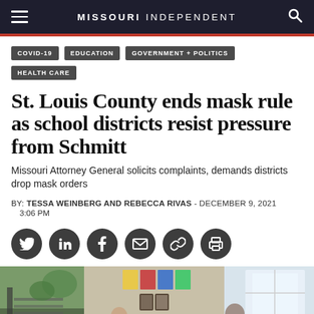MISSOURI INDEPENDENT
COVID-19
EDUCATION
GOVERNMENT + POLITICS
HEALTH CARE
St. Louis County ends mask rule as school districts resist pressure from Schmitt
Missouri Attorney General solicits complaints, demands districts drop mask orders
BY: TESSA WEINBERG AND REBECCA RIVAS - DECEMBER 9, 2021
3:06 PM
[Figure (photo): Classroom or school interior scene with students and educational materials visible]